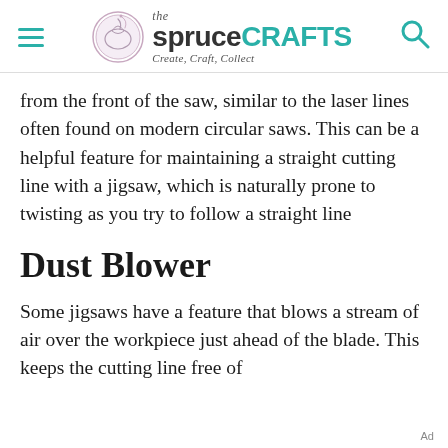the spruceCRAFTS — Create, Craft, Collect
from the front of the saw, similar to the laser lines often found on modern circular saws. This can be a helpful feature for maintaining a straight cutting line with a jigsaw, which is naturally prone to twisting as you try to follow a straight line
Dust Blower
Some jigsaws have a feature that blows a stream of air over the workpiece just ahead of the blade. This keeps the cutting line free of
Ad